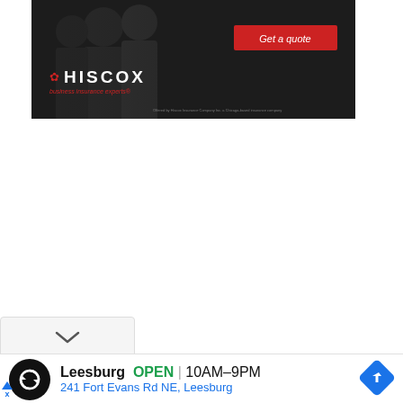[Figure (advertisement): Hiscox business insurance advertisement banner. Dark background with silhouette of business people. Red 'Get a quote' button. Hiscox logo with fleur-de-lis, tagline 'business insurance experts'. Small disclaimer text at bottom right.]
[Figure (other): White chevron/collapse button (v shape) on light grey pill-shaped background.]
[Figure (other): Local store ad: Loop logo (circular arrows) in black circle. Text: 'Leesburg OPEN | 10AM-9PM' and '241 Fort Evans Rd NE, Leesburg'. Blue navigation arrow diamond icon on right. Ad triangle and X label bottom left.]